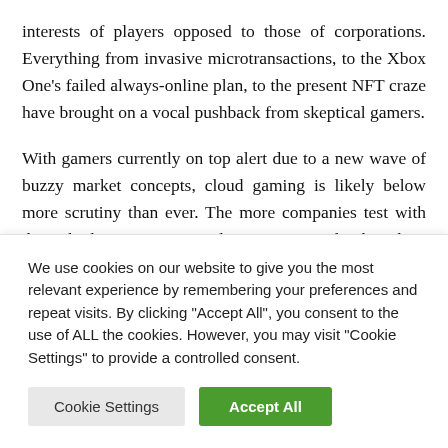interests of players opposed to those of corporations. Everything from invasive microtransactions, to the Xbox One's failed always-online plan, to the present NFT craze have brought on a vocal pushback from skeptical gamers.
With gamers currently on top alert due to a new wave of buzzy market concepts, cloud gaming is likely below more scrutiny than ever. The more companies test with the tech, the more it's treated as an existential risk to the industry.
We use cookies on our website to give you the most relevant experience by remembering your preferences and repeat visits. By clicking "Accept All", you consent to the use of ALL the cookies. However, you may visit "Cookie Settings" to provide a controlled consent.